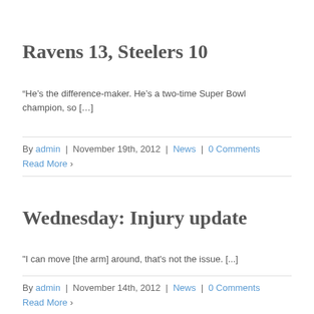Ravens 13, Steelers 10
“He’s the difference-maker. He’s a two-time Super Bowl champion, so [...]
By admin | November 19th, 2012 | News | 0 Comments
Read More >
Wednesday: Injury update
"I can move [the arm] around, that's not the issue. [...]
By admin | November 14th, 2012 | News | 0 Comments
Read More >